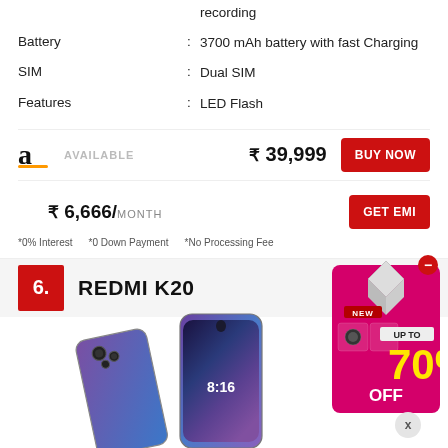recording
Battery : 3700 mAh battery with fast Charging
SIM : Dual SIM
Features : LED Flash
AVAILABLE  ₹ 39,999  BUY NOW
₹ 6,666/ MONTH  GET EMI
*0% Interest  *0 Down Payment  *No Processing Fee
6. REDMI K20
[Figure (photo): Redmi K20 smartphone shown from front and back, gradient purple/blue color]
[Figure (infographic): Advertisement banner: UP TO 70% OFF sale promotion with product images]